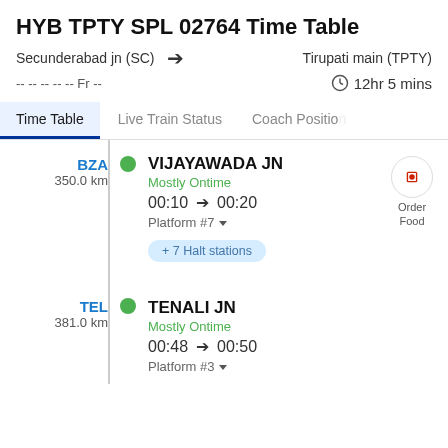HYB TPTY SPL 02764 Time Table
Secunderabad jn (SC) → Tirupati main (TPTY)
-- -- -- -- -- Fr --   🕐 12hr 5 mins
Time Table | Live Train Status | Coach Position
BZA 350.0 km | VIJAYAWADA JN | Mostly Ontime | 00:10 → 00:20 | Platform #7
+ 7 Halt stations
TEL 381.0 km | TENALI JN | Mostly Ontime | 00:48 → 00:50 | Platform #3